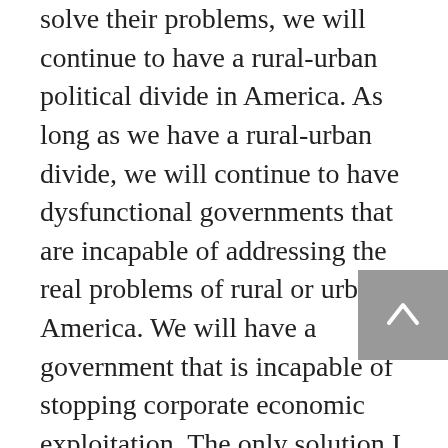solve their problems, we will continue to have a rural-urban political divide in America. As long as we have a rural-urban divide, we will continue to have dysfunctional governments that are incapable of addressing the real problems of rural or urban America. We will have a government that is incapable of stopping corporate economic exploitation. The only solution I can see to this dilemma is what I call “A Revolution of the Middle.” I have written a book with this title that is available digitally on Kindle, with an audio version available through Amazon or ITunes. I believe the core social and ethical values that American share in common, both rural and urban, are